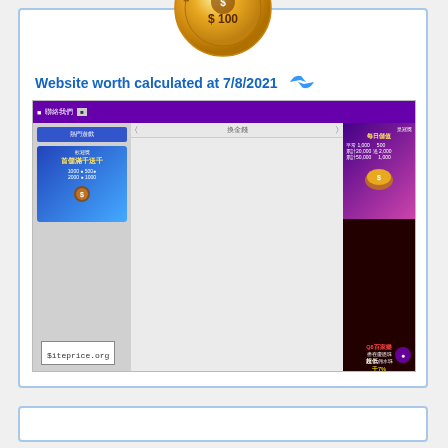[Figure (illustration): Gold coin seal with 'WEBSITE WORTH' text around the edge and '$100' in the center]
Website worth calculated at 7/8/2021
[Figure (screenshot): Screenshot of a website with purple navigation bar, Chinese text banners, and gambling/casino promotional images showing bonus offers with Chinese characters. Bottom left corner shows '$iteprice.org' watermark.]